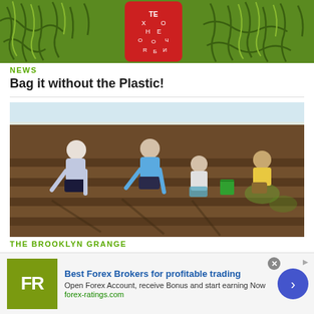[Figure (photo): Close-up of green beans/produce with a red patterned bag in the center]
NEWS
Bag it without the Plastic!
[Figure (photo): People working in a rooftop farm garden, bending over soil rows with a green bucket]
THE BROOKLYN GRANGE
A Farm up on the Roof
[Figure (infographic): Advertisement banner: Best Forex Brokers for profitable trading. FR logo, forex-ratings.com]